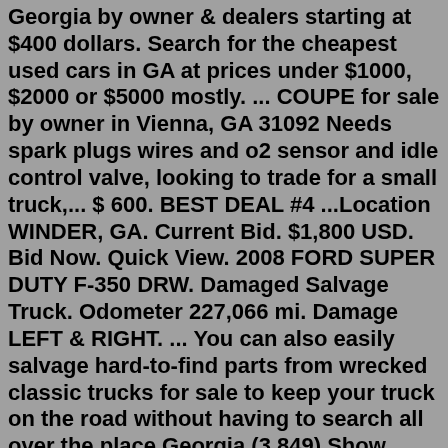Georgia by owner & dealers starting at $400 dollars. Search for the cheapest used cars in GA at prices under $1000, $2000 or $5000 mostly. ... COUPE for sale by owner in Vienna, GA 31092 Needs spark plugs wires and o2 sensor and idle control valve, looking to trade for a small truck,... $ 600. BEST DEAL #4 ...Location WINDER, GA. Current Bid. $1,800 USD. Bid Now. Quick View. 2008 FORD SUPER DUTY F-350 DRW. Damaged Salvage Truck. Odometer 227,066 mi. Damage LEFT & RIGHT. ... You can also easily salvage hard-to-find parts from wrecked classic trucks for sale to keep your truck on the road without having to search all over the place.Georgia (3,849) Show More. City. Spencer (26,439) Sioux Falls (26,049) Council Bluffs (23,449) Kansas City (23,054) Winamac (15,054) Elkton (14,799) ... Trucks For Sale On Next Truck Online. NextTruckOnline.com is your number one source for all things trucks, trailers, and parts. Sell your commercial vehicles while spending less with affordable ...RV, TRUCK, and CAMPING EQUIPMENT for Sale by Owner. $1 (nor >